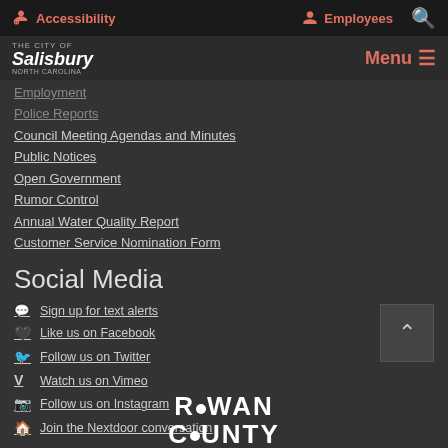Accessibility | Employees | Search
The City of Salisbury | Menu
Employment
Police Reports
Council Meeting Agendas and Minutes
Public Notices
Open Government
Rumor Control
Annual Water Quality Report
Customer Service Nomination Form
Social Media
Sign up for text alerts
Like us on Facebook
Follow us on Twitter
Watch us on Vimeo
Follow us on Instagram
Join the Nextdoor conversation
[Figure (logo): Rowan County logo in white text at bottom of page]